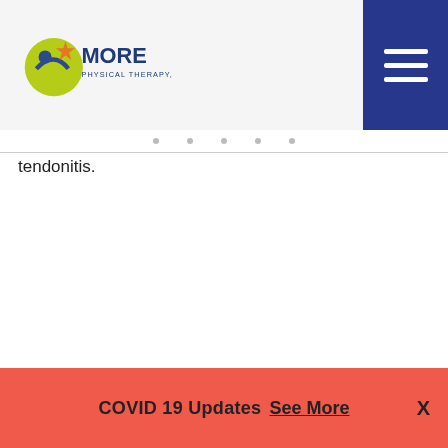[Figure (logo): MORE Physical Therapy, Inc. logo — yellow-green circular figure with orange star and dark blue text 'MORE PHYSICAL THERAPY, INC.']
tendonitis.
COVID 19 Updates  See More  X